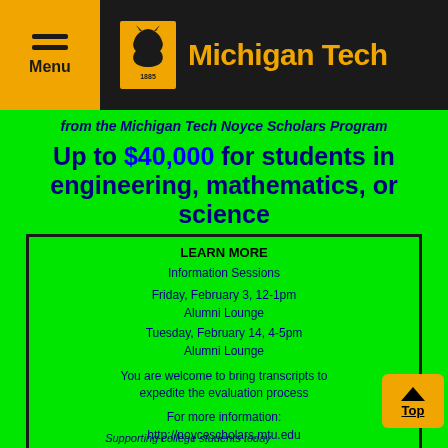Michigan Tech – Menu header with logo
from the Michigan Tech Noyce Scholars Program
Up to $40,000 for students in engineering, mathematics, or science
LEARN MORE
Information Sessions
Friday, February 3, 12-1pm
Alumni Lounge
Tuesday, February 14, 4-5pm
Alumni Lounge
You are welcome to bring transcripts to expedite the evaluation process
For more information:
http://noycescholars.mtu.edu
[Figure (logo): NSF (National Science Foundation) logo — circular globe with NSF text surrounded by golden snowflake/star pattern]
Supporting college students today